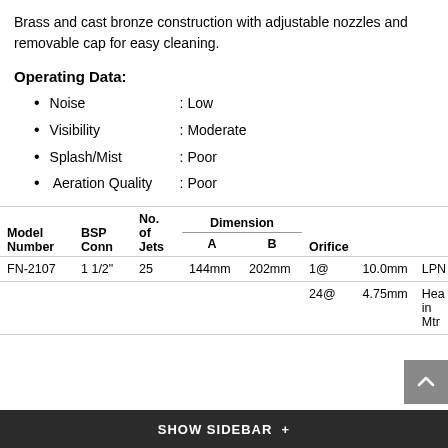Brass and cast bronze construction with adjustable nozzles and removable cap for easy cleaning.
Operating Data:
Noise : Low
Visibility : Moderate
Splash/Mist : Poor
Aeration Quality : Poor
| Model Number | BSP Conn | No. of Jets | Dimension A | Dimension B | Orifice |  |  |
| --- | --- | --- | --- | --- | --- | --- | --- |
| FN-2107 | 1 1/2" | 25 | 144mm | 202mm | 1@ | 10.0mm | LPN |
|  |  |  |  |  | 24@ | 4.75mm | Hea in Mtr |
SHOW SIDEBAR +